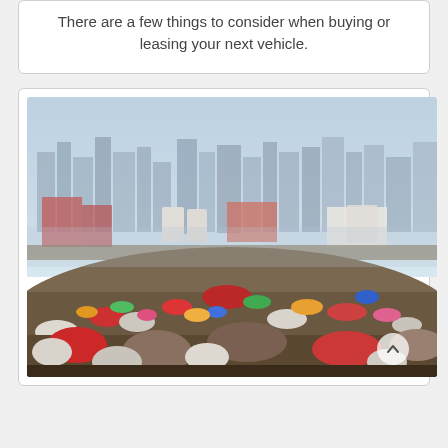There are a few things to consider when buying or leasing your next vehicle.
[Figure (photo): A large landfill or garbage dump in the foreground filled with colorful mixed waste and debris, with an industrial cityscape and hazy sky visible in the background.]